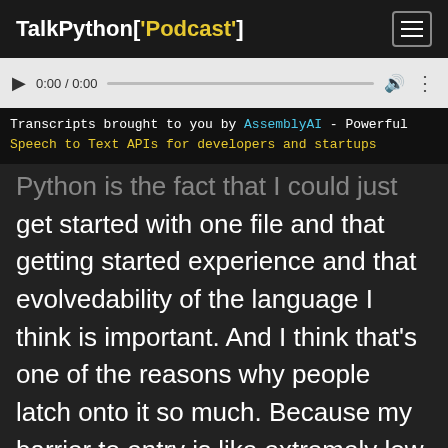TalkPython['Podcast']
[Figure (screenshot): Audio player control bar with play button, time display 0:00 / 0:00, progress bar, volume icon, and more options icon]
Transcripts brought to you by AssemblyAI - Powerful Speech to Text APIs for developers and startups
Python is the fact that I could just get started with one file and that getting started experience and that evolvedability of the language I think is important. And I think that's one of the reasons why people latch onto it so much. Because my barrier to entry is like extremely low. It is literally like a